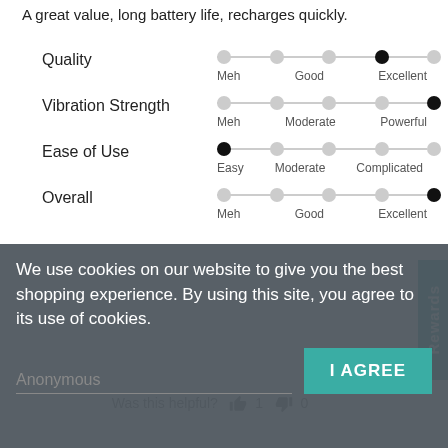A great value, long battery life, recharges quickly.
[Figure (infographic): Rating sliders for Quality (Excellent), Vibration Strength (Powerful), Ease of Use (Easy), Overall (Excellent) with dot indicators on a track]
Was this helpful? 👍 1 👎 0
We use cookies on our website to give you the best shopping experience. By using this site, you agree to its use of cookies.
Anonymous
I AGREE